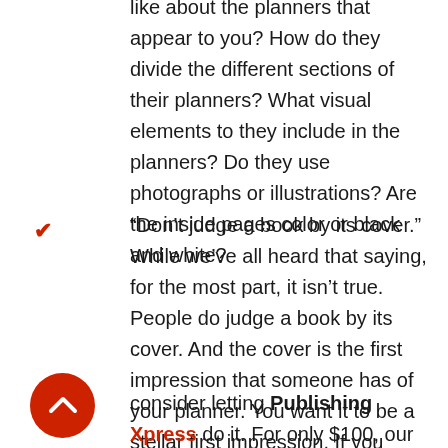like about the planners that appear to you? How do they divide the different sections of their planners? What visual elements to they include in the planners? Do they use photographs or illustrations? Are the inside pages color or black and white?
“Don’t judge a book by its cover.” While we’ve all heard that saying, for the most part, it isn’t true. People do judge a book by its cover. And the cover is the first impression that someone has of your planner. You want it to be a stellar first impression. If you don’t feel up to the task of designing the cover yourself, consider letting Publishing Xpress do it. For only $100, our designer will get basic information from you
[Figure (other): Red circular scroll-to-top button with white chevron/arrow icon]